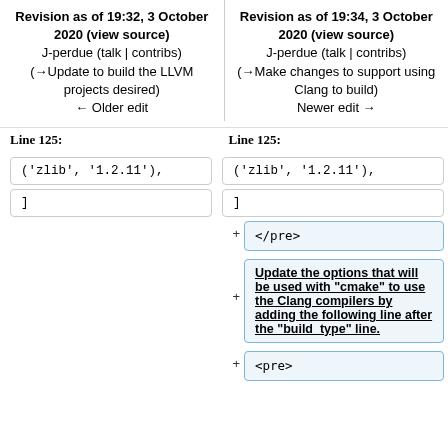Revision as of 19:32, 3 October 2020 (view source)
J-perdue (talk | contribs)
(→Update to build the LLVM projects desired)
← Older edit
Revision as of 19:34, 3 October 2020 (view source)
J-perdue (talk | contribs)
(→Make changes to support using Clang to build)
Newer edit →
Line 125:
Line 125:
('zlib', '1.2.11'),
('zlib', '1.2.11'),
]
]
</pre>
Update the options that will be used with "cmake" to use the Clang compilers by adding the following line after the "build_type" line.
<pre>